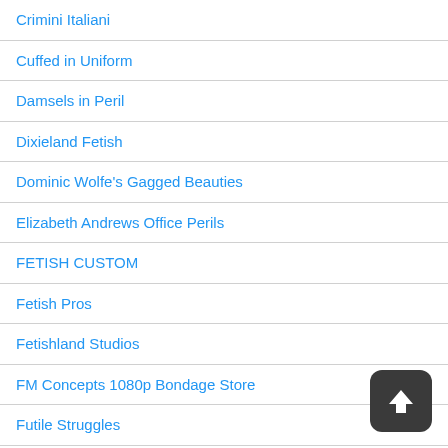Crimini Italiani
Cuffed in Uniform
Damsels in Peril
Dixieland Fetish
Dominic Wolfe's Gagged Beauties
Elizabeth Andrews Office Perils
FETISH CUSTOM
Fetish Pros
Fetishland Studios
FM Concepts 1080p Bondage Store
Futile Struggles
Girl Next Door Bondage
[Figure (illustration): Dark rounded square button with white upward arrow icon (upload/scroll-to-top button)]